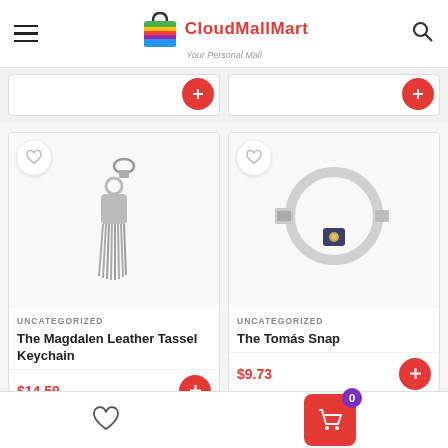CloudMallMart - Your Personal Mall
[Figure (screenshot): CloudMallMart logo with colorful shopping bag icon and site name in red]
[Figure (photo): Partial product cards from previous row with red add-to-cart buttons]
[Figure (photo): The Magdalen Leather Tassel Keychain product card - grey tassel keychain photo, UNCATEGORIZED label, price $14.59]
UNCATEGORIZED
The Magdalen Leather Tassel Keychain
$14.59
[Figure (photo): The Tomás Snap product card - coiled white cable with navy leather snap, UNCATEGORIZED label, price $9.73]
UNCATEGORIZED
The Tomás Snap
$9.73
Wishlist icon and shopping cart with 0 items